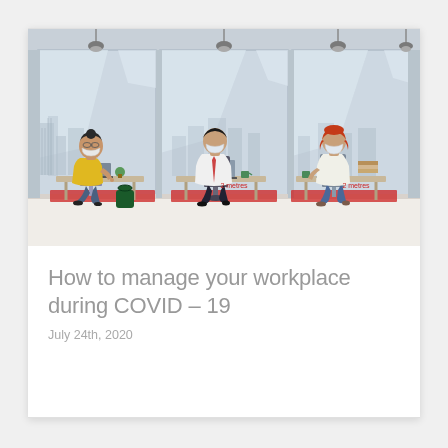[Figure (illustration): Office illustration showing three workers seated at separate desks spaced 2 metres apart, each wearing face masks, with large floor-to-ceiling windows showing a city skyline behind them. Red mat boundaries mark each worker's area. Text labels '2 metres' appear between the desks.]
How to manage your workplace during COVID – 19
July 24th, 2020